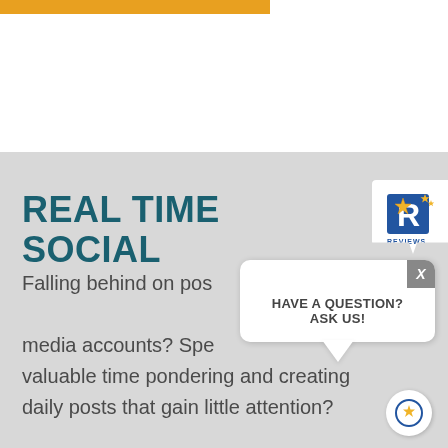[Figure (logo): Orange bar at top of page]
REAL TIME SOCIAL
Falling behind on posting to your social media accounts? Spending valuable time pondering and creating daily posts that gain little attention?
[Figure (logo): Reviews badge with R logo and stars]
[Figure (infographic): Chat popup with text HAVE A QUESTION? ASK US! and close X button]